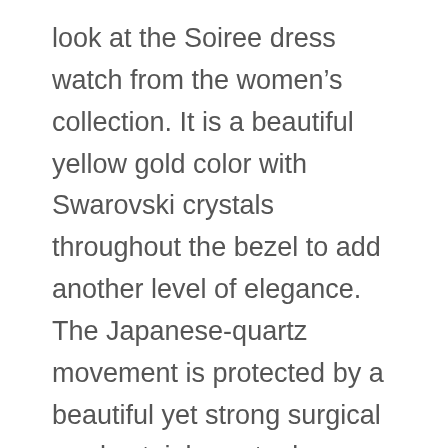look at the Soiree dress watch from the women’s collection. It is a beautiful yellow gold color with Swarovski crystals throughout the bezel to add another level of elegance. The Japanese-quartz movement is protected by a beautiful yet strong surgical grade stainless steel case and a tough Krysterna crystal dial; this watch will be tough to damage.
The band is also made from the same stainless steel in a seven link-style and has a deployant fold-over type clasp. If you are looking to add a touch of class to your